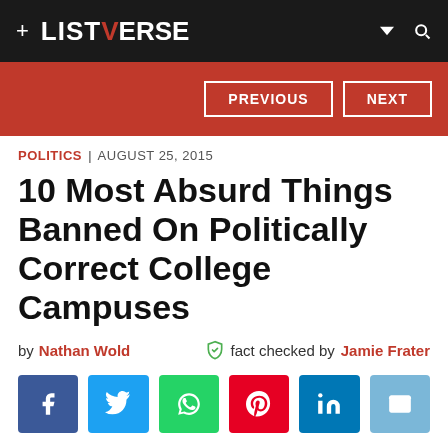+ LISTVERSE
POLITICS | AUGUST 25, 2015
10 Most Absurd Things Banned On Politically Correct College Campuses
by Nathan Wold   fact checked by Jamie Frater
[Figure (other): Social share buttons: Facebook, Twitter, WhatsApp, Pinterest, LinkedIn, Email]
College campuses across the country used to be arenas for debauchery and loose inhibitions, but many these days function as micromanaged zones of political correctness where students and faculty alike walk on eggshells for fear